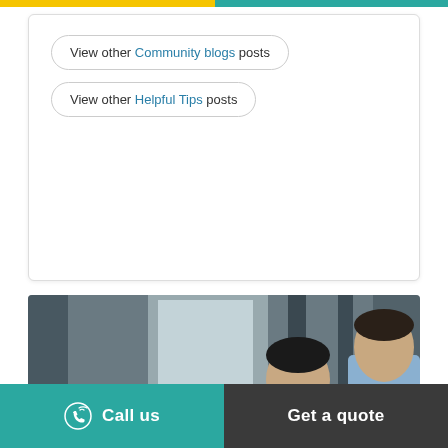View other Community blogs posts
View other Helpful Tips posts
[Figure (photo): Two businessmen in a meeting, one in a grey suit facing forward looking down, one in a light blue shirt seen from behind, in a modern office setting]
Call us
Get a quote